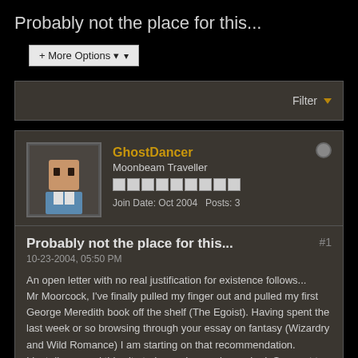Probably not the place for this...
+ More Options
Filter
GhostDancer
Moonbeam Traveller
Join Date: Oct 2004  Posts: 3
Probably not the place for this...
10-23-2004, 05:50 PM
An open letter with no real justification for existence follows...
Mr Moorcock, I've finally pulled my finger out and pulled my first George Meredith book off the shelf (The Egoist). Having spent the last week or so browsing through your essay on fantasy (Wizardry and Wild Romance) I am starting on that recommendation.
I just discovered this site today and am gobsmacked. So great to read